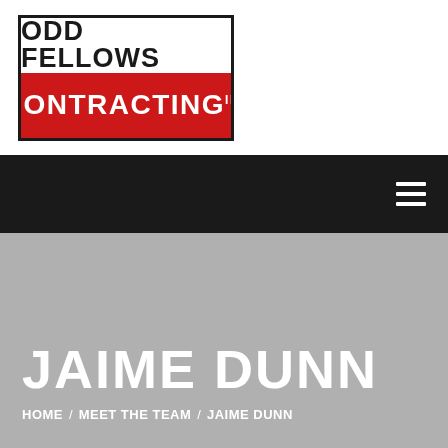[Figure (logo): Odd Fellows Contracting Inc logo — black border box, white top half with black bold text 'ODD FELLOWS', red bottom half with white bold text 'CONTRACTING INC']
Navigation bar with hamburger menu icon
JAIME DUNN
HOME / MEET THE TEAM / JAIME DUNN